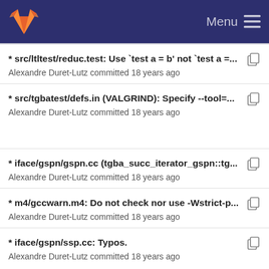Menu
* src/ltltest/reduc.test: Use `test a = b' not `test a =...
Alexandre Duret-Lutz committed 18 years ago
* src/tgbatest/defs.in (VALGRIND): Specify --tool=...
Alexandre Duret-Lutz committed 18 years ago
* iface/gspn/gspn.cc (tgba_succ_iterator_gspn::tg...
Alexandre Duret-Lutz committed 18 years ago
* m4/gccwarn.m4: Do not check nor use -Wstrict-p...
Alexandre Duret-Lutz committed 18 years ago
* iface/gspn/ssp.cc: Typos.
Alexandre Duret-Lutz committed 18 years ago